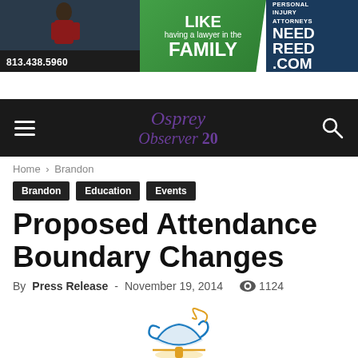[Figure (screenshot): Advertisement banner: left dark section with phone number 813.438.5960 and person photo, middle green section with text 'LIKE having a lawyer in the FAMILY', right dark blue section with 'PERSONAL INJURY ATTORNEYS NEED REED COM']
[Figure (logo): Osprey Observer 20 logo on dark navigation bar with hamburger menu and search icon]
Home › Brandon
Brandon
Education
Events
Proposed Attendance Boundary Changes
By Press Release - November 19, 2014  👁 1124
[Figure (logo): Hillsborough County lamp/genie lamp logo in blue and gold with text 'Hillsborough County' below in blue]